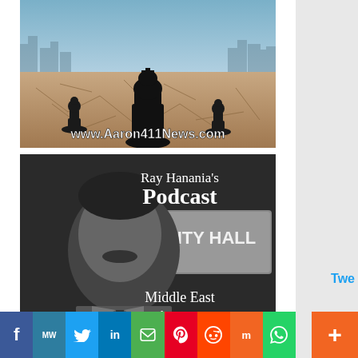[Figure (illustration): Chess pieces (king and pawns) on cracked earth landscape with city skyline in background and text 'www.Aaron411News.com' overlaid in white]
[Figure (illustration): Black and white photo of Ray Hanania in front of City Hall sign with text overlaid: "Ray Hanania's Podcast", "Middle East Mainstream", "Award-winning Columnist"]